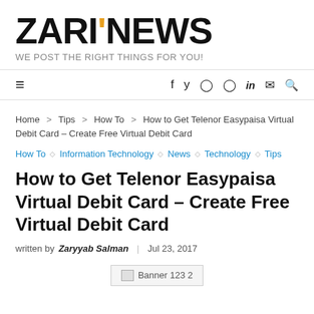ZARI'NEWS — WE POST THE RIGHT THINGS FOR YOU!
≡  f  y  (Instagram)  (Pinterest)  in  (Mail)  (Search)
Home > Tips > How To > How to Get Telenor Easypaisa Virtual Debit Card – Create Free Virtual Debit Card
How To ◇ Information Technology ◇ News ◇ Technology ◇ Tips
How to Get Telenor Easypaisa Virtual Debit Card – Create Free Virtual Debit Card
written by Zaryyab Salman | Jul 23, 2017
[Figure (other): Broken image placeholder labeled 'Banner 123 2']